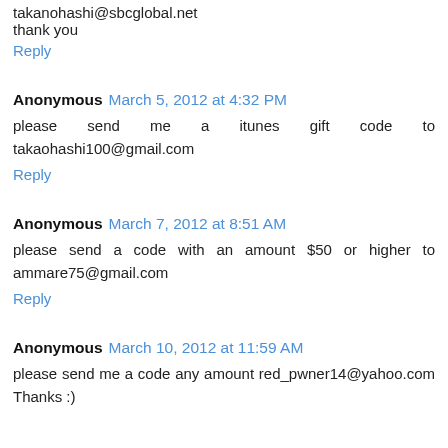takanohashi@sbcglobal.net
thank you
Reply
Anonymous March 5, 2012 at 4:32 PM
please send me a itunes gift code to takaohashi100@gmail.com
Reply
Anonymous March 7, 2012 at 8:51 AM
please send a code with an amount $50 or higher to ammare75@gmail.com
Reply
Anonymous March 10, 2012 at 11:59 AM
please send me a code any amount red_pwner14@yahoo.com Thanks :)